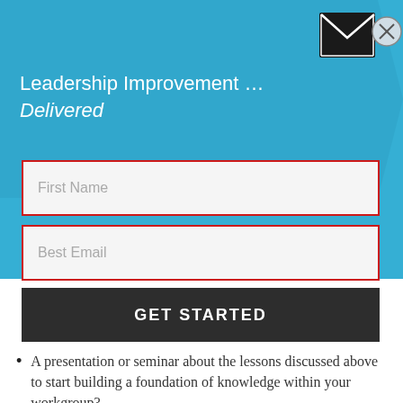[Figure (illustration): Email newsletter signup popup with blue header background, envelope icon, close button circle, text fields for First Name and Best Email, and a dark GET STARTED button]
Leadership Improvement … Delivered
First Name
Best Email
GET STARTED
A presentation or seminar about the lessons discussed above to start building a foundation of knowledge within your workgroup?